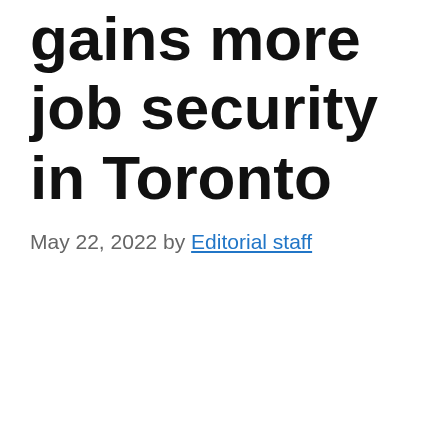gains more job security in Toronto
May 22, 2022 by Editorial staff